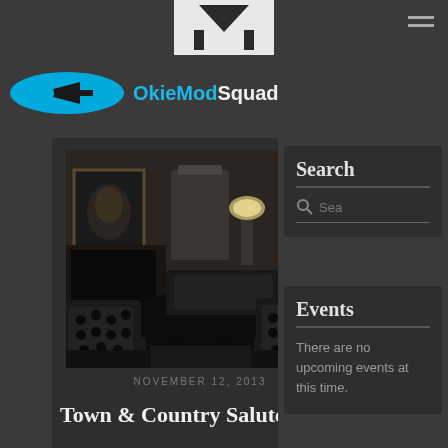[Figure (logo): OkieModSquad website logo with blue oval/arrow shape and house icon]
[Figure (photo): Black and white photograph of a mid-century modern living room interior with polka dot upholstered chairs, a round coffee table, sofa, lamp, and framed portrait on wood-paneled wall]
NOVEMBER 12, 2013
Town & Country Salute...
Search
Sea
Events
There are no upcoming events at this time.